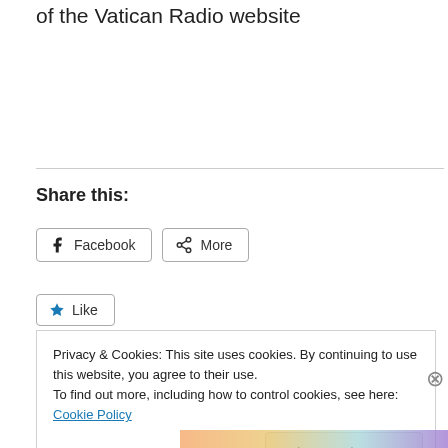of the Vatican Radio website
Share this:
Facebook | More
Like
Privacy & Cookies: This site uses cookies. By continuing to use this website, you agree to their use.
To find out more, including how to control cookies, see here: Cookie Policy
Close and accept